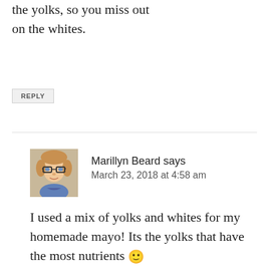the yolks, so you miss out on the whites.
REPLY
Marillyn Beard says
March 23, 2018 at 4:58 am
I used a mix of yolks and whites for my homemade mayo! Its the yolks that have the most nutrients 🙂
REPLY